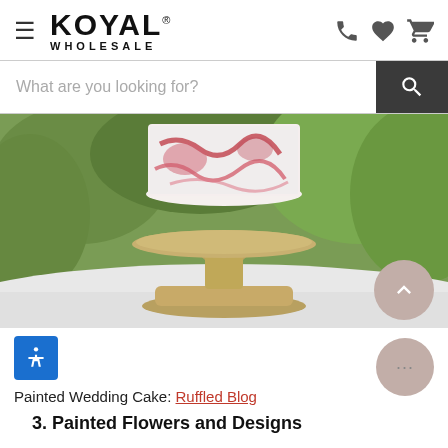[Figure (logo): Koyal Wholesale logo with hamburger menu icon]
[Figure (screenshot): Search bar with 'What are you looking for?' placeholder and dark search button]
[Figure (photo): Painted wedding cake on a gold pedestal stand set outdoors on a white table with green plants in background]
[Figure (other): Blue accessibility icon button (wheelchair symbol)]
Painted Wedding Cake: Ruffled Blog
3.  Painted Flowers and Designs